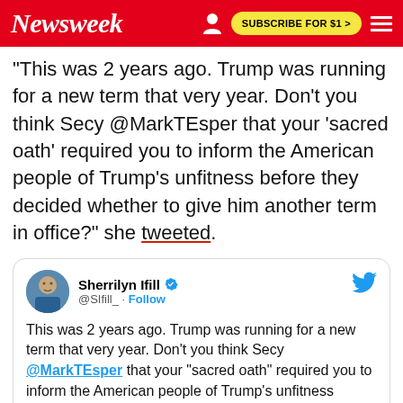Newsweek | SUBSCRIBE FOR $1 >
"This was 2 years ago. Trump was running for a new term that very year. Don't you think Secy @MarkTEsper that your 'sacred oath' required you to inform the American people of Trump's unfitness before they decided whether to give him another term in office?" she tweeted.
[Figure (screenshot): Embedded tweet from @SIfill_ (Sherrilyn Ifill, verified) reading: 'This was 2 years ago. Trump was running for a new term that very year. Don’t you think Secy @MarkTEsper that your “sacred oath” required you to inform the American people of Trump’s unfitness before they decided...' with Twitter bird logo.]